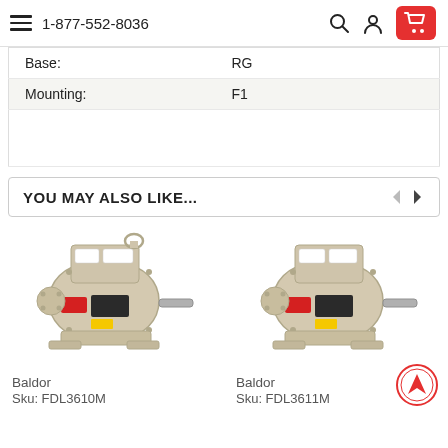1-877-552-8036
| Property | Value |
| --- | --- |
| Base: | RG |
| Mounting: | F1 |
YOU MAY ALSO LIKE...
[Figure (photo): Baldor electric motor, tan/beige colored, with red warning label and black data plate, side-view with shaft protruding to the right. Product: Baldor, Sku: FDL3610M]
Baldor
Sku: FDL3610M
[Figure (photo): Baldor electric motor, tan/beige colored, with red warning label and black data plate, side-view with shaft protruding to the right. Product: Baldor, Sku: FDL3611M]
Baldor
Sku: FDL3611M